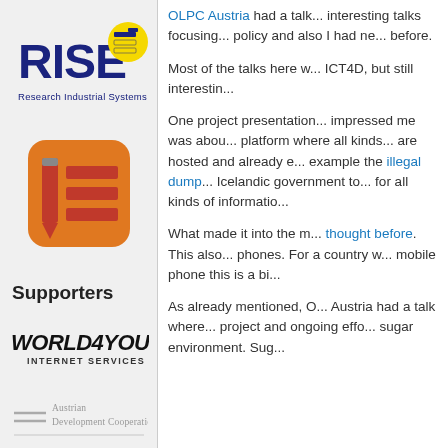[Figure (logo): RISE Research Industrial Systems Engineering logo with yellow circle and stacked lines icon]
[Figure (logo): App icon with orange rounded square background, red pencil and horizontal red bars list]
Supporters
[Figure (logo): World4You Internet Services GmbH logo in bold black text]
[Figure (logo): Austrian Development Cooperation logo with two horizontal lines]
OLPC Austria had a talk... interesting talks focusing... policy and also I had ne... before.
Most of the talks here w... ICT4D, but still interestin...
One project presentation... impressed me was abou... platform where all kinds... are hosted and already e... example the illegal dump... Icelandic government to... for all kinds of informatio...
What made it into the m... thought before. This also... phones. For a country w... mobile phone this is a bi...
As already mentioned, O... Austria had a talk where... project and ongoing effo... sugar environment. Sug...